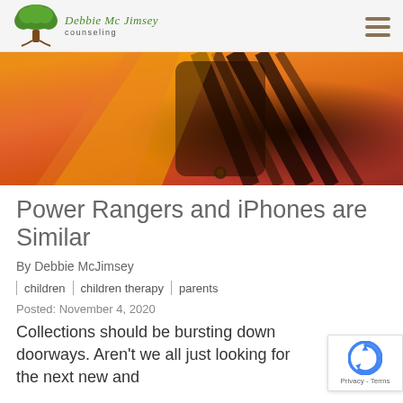Debbie McJimsey Counseling
[Figure (photo): Close-up photo of a colorful object (likely a phone case or Power Rangers toy) with warm red, orange, yellow tones and dark elements, blurred background]
Power Rangers and iPhones are Similar
By Debbie McJimsey
children | children therapy | parents
Posted: November 4, 2020
Collections should be bursting down doorways. Aren't we all just looking for the next new and